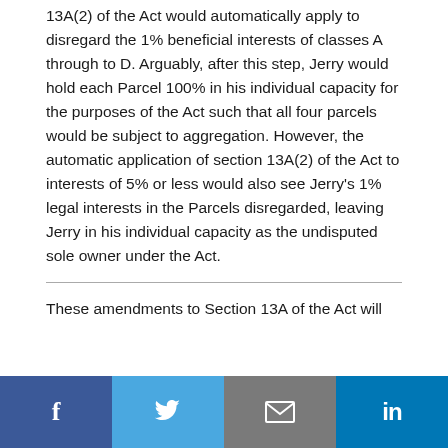13A(2) of the Act would automatically apply to disregard the 1% beneficial interests of classes A through to D. Arguably, after this step, Jerry would hold each Parcel 100% in his individual capacity for the purposes of the Act such that all four parcels would be subject to aggregation. However, the automatic application of section 13A(2) of the Act to interests of 5% or less would also see Jerry's 1% legal interests in the Parcels disregarded, leaving Jerry in his individual capacity as the undisputed sole owner under the Act.
These amendments to Section 13A of the Act will